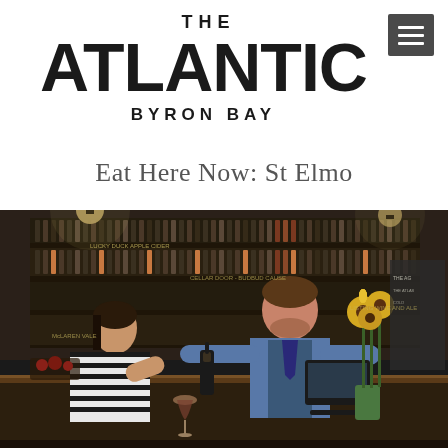THE ATLANTIC BYRON BAY
Eat Here Now: St Elmo
[Figure (photo): A bartender pouring wine for a female customer at a bar with shelves of wine bottles behind, sunflowers in a vase on the bar counter]